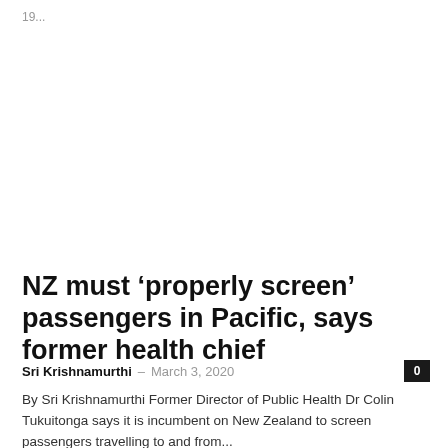19...
Coronavirus
NZ must ‘properly screen’ passengers in Pacific, says former health chief
Sri Krishnamurthi – March 3, 2020
By Sri Krishnamurthi Former Director of Public Health Dr Colin Tukuitonga says it is incumbent on New Zealand to screen passengers travelling to and from...